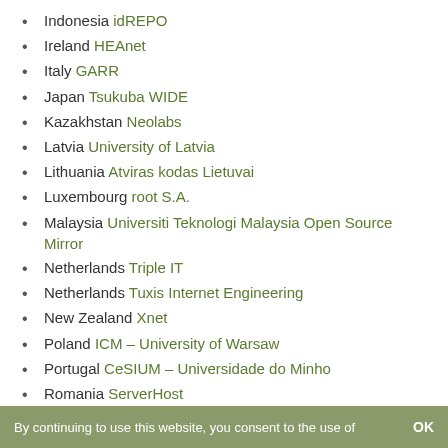Indonesia idREPO
Ireland HEAnet
Italy GARR
Japan Tsukuba WIDE
Kazakhstan Neolabs
Latvia University of Latvia
Lithuania Atviras kodas Lietuvai
Luxembourg root S.A.
Malaysia Universiti Teknologi Malaysia Open Source Mirror
Netherlands Triple IT
Netherlands Tuxis Internet Engineering
New Zealand Xnet
Poland ICM – University of Warsaw
Portugal CeSIUM – Universidade do Minho
Romania ServerHost
By continuing to use this website, you consent to the use of   OK